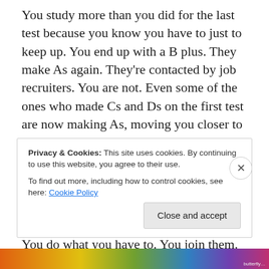You study more than you did for the last test because you know you have to just to keep up.  You end up with a B plus.  They make As again.  They're contacted by job recruiters.  You are not.  Even some of the ones who made Cs and Ds on the first test are now making As, moving you closer to the bottom of the pack.  You'd like to tell on them, but you have no proof.  Besides, that would really tick off the whole group, and they pretty much detest you anyway for your goody-two-shoes routine.
You do what you have to.  You join them.  You make your
Privacy & Cookies: This site uses cookies. By continuing to use this website, you agree to their use.
To find out more, including how to control cookies, see here: Cookie Policy